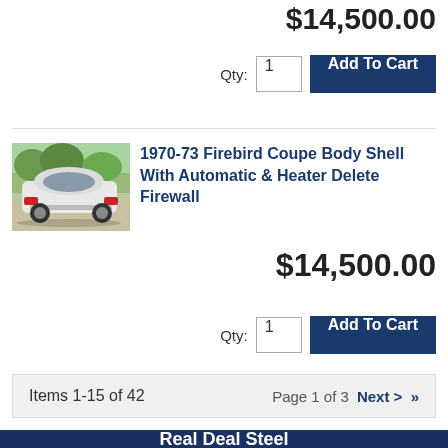$14,500.00
Qty: 1  Add To Cart
[Figure (photo): White 1970-73 Firebird Coupe rear three-quarter view parked outdoors]
1970-73 Firebird Coupe Body Shell With Automatic & Heater Delete Firewall
$14,500.00
Qty: 1  Add To Cart
Items 1-15 of 42    Page 1 of 3    Next >  »
Real Deal Steel